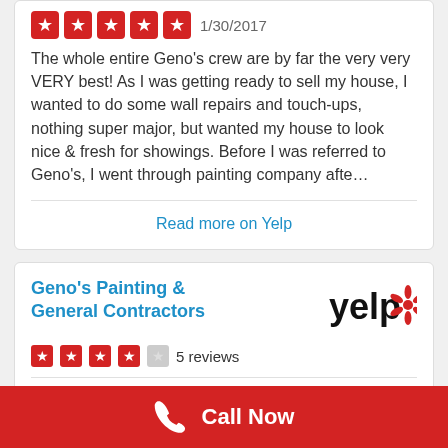[Figure (other): Five red star rating icons followed by date 1/30/2017]
The whole entire Geno's crew are by far the very very VERY best! As I was getting ready to sell my house, I wanted to do some wall repairs and touch-ups, nothing super major, but wanted my house to look nice & fresh for showings. Before I was referred to Geno's, I went through painting company afte…
Read more on Yelp
Geno's Painting & General Contractors
[Figure (logo): Yelp logo with stylized burst]
[Figure (other): 4 red star rating icons and 1 empty star, followed by '5 reviews']
Kevin V.
0   17
[Figure (other): Five red star rating icons followed by date 11/9/2016]
Call Now